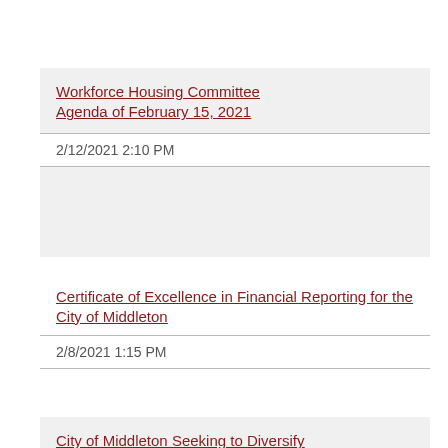Workforce Housing Committee Agenda of February 15, 2021
2/12/2021 2:10 PM
Certificate of Excellence in Financial Reporting for the City of Middleton
2/8/2021 1:15 PM
City of Middleton Seeking to Diversify